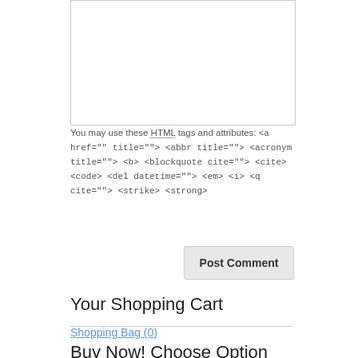[Figure (other): Textarea input box for comment entry]
You may use these HTML tags and attributes: <a href="" title=""> <abbr title=""> <acronym title=""> <b> <blockquote cite=""> <cite> <code> <del datetime=""> <em> <i> <q cite=""> <strike> <strong>
Post Comment
Your Shopping Cart
Shopping Bag (0)
Buy Now! Choose Option